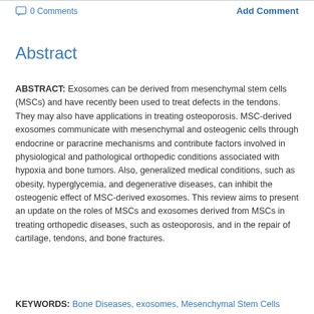0 Comments    Add Comment
Abstract
ABSTRACT: Exosomes can be derived from mesenchymal stem cells (MSCs) and have recently been used to treat defects in the tendons. They may also have applications in treating osteoporosis. MSC-derived exosomes communicate with mesenchymal and osteogenic cells through endocrine or paracrine mechanisms and contribute factors involved in physiological and pathological orthopedic conditions associated with hypoxia and bone tumors. Also, generalized medical conditions, such as obesity, hyperglycemia, and degenerative diseases, can inhibit the osteogenic effect of MSC-derived exosomes. This review aims to present an update on the roles of MSCs and exosomes derived from MSCs in treating orthopedic diseases, such as osteoporosis, and in the repair of cartilage, tendons, and bone fractures.
KEYWORDS: Bone Diseases, exosomes, Mesenchymal Stem Cells